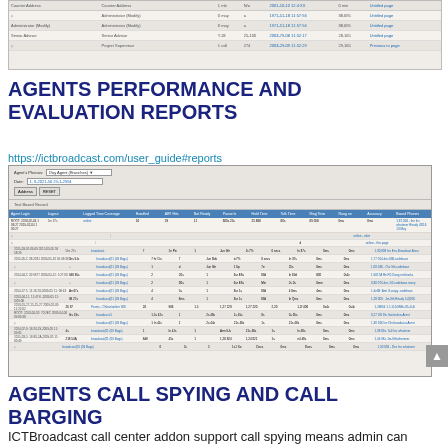[Figure (screenshot): Partial screenshot of a table/report interface at the top of the page]
AGENTS PERFORMANCE AND EVALUATION REPORTS
https://ictbroadcast.com/user_guide#reports
[Figure (screenshot): Screenshot of an Agents Performance and Evaluation report table with many columns including Agent Login, Logout, Logged Time Coverage, Handled, etc.]
AGENTS CALL SPYING AND CALL BARGING
ICTBroadcast call center addon support call spying means admin can monitor and listen to call during